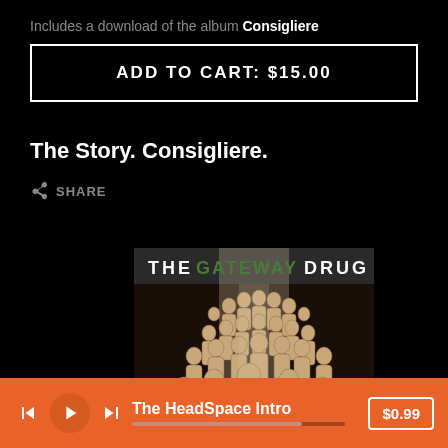Includes a download of the album Consigliere
ADD TO CART: $15.00
The Story. Consigliere.
SHARE
[Figure (illustration): Album cover for 'The Gateway Drug' showing crowd of stylized figures with the text THE GATEWAY DRUG at top]
The HeadSpace Intro  $0.99